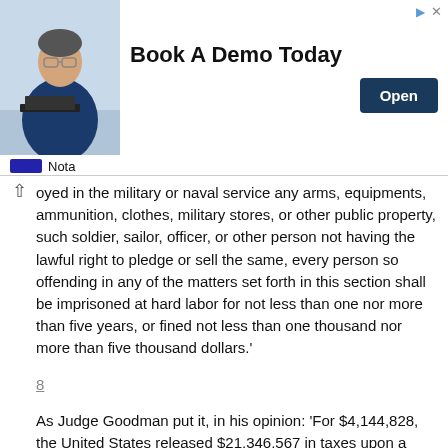[Figure (photo): Advertisement banner: man in glasses at desk, 'Book A Demo Today' headline with 'Open' button, Nota branding below]
oyed in the military or naval service any arms, equipments, ammunition, clothes, military stores, or other public property, such soldier, sailor, officer, or other person not having the lawful right to pledge or sell the same, every person so offending in any of the matters set forth in this section shall be imprisoned at hard labor for not less than one nor more than five years, or fined not less than one thousand nor more than five thousand dollars.'
8
As Judge Goodman put it, in his opinion: 'For $4,144,828, the United States released $21,346,567 in taxes upon a basis which is completely incomprehensible.' (85 F.Supp. 873.)
9
The portion of this section, to and including the word 'proceedings', was a part of R.S. Sec. 3214